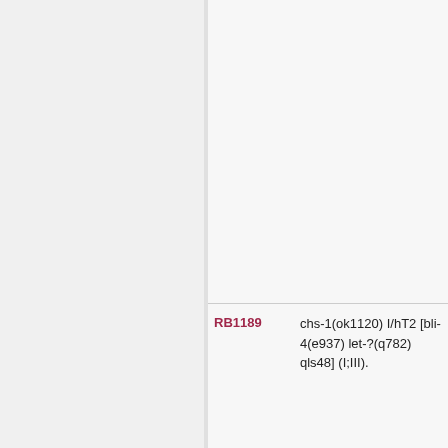| ID | Description |
| --- | --- |
| RB1189 | chs-1(ok1120) I/hT2 [bli-4(e937) let-?(q782) qIs48] (I;III). |